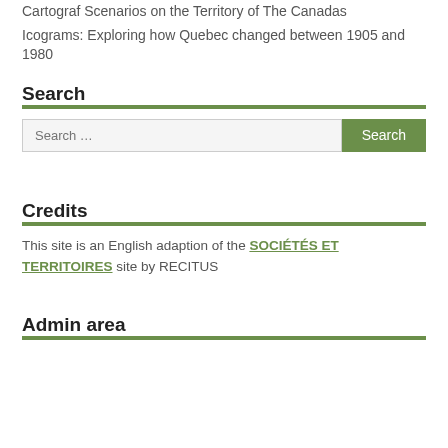Cartograf Scenarios on the Territory of The Canadas
Icograms: Exploring how Quebec changed between 1905 and 1980
Search
Credits
This site is an English adaption of the SOCIÉTÉS ET TERRITOIRES site by RECITUS
Admin area